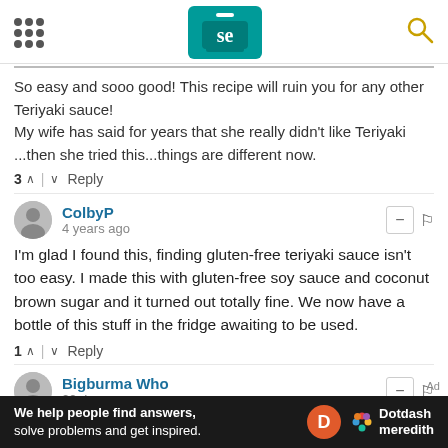Serious Eats
So easy and sooo good! This recipe will ruin you for any other Teriyaki sauce!
My wife has said for years that she really didn't like Teriyaki ...then she tried this...things are different now.
3 ^ | v Reply
ColbyP
4 years ago
I'm glad I found this, finding gluten-free teriyaki sauce isn't too easy. I made this with gluten-free soy sauce and coconut brown sugar and it turned out totally fine. We now have a bottle of this stuff in the fridge awaiting to be used.
1 ^ | v Reply
Bigburma Who
22 days ago
This is not authentic, but tastes fine - just different. Teriyaki
[Figure (screenshot): Ad banner: We help people find answers, solve problems and get inspired. Dotdash meredith logo.]